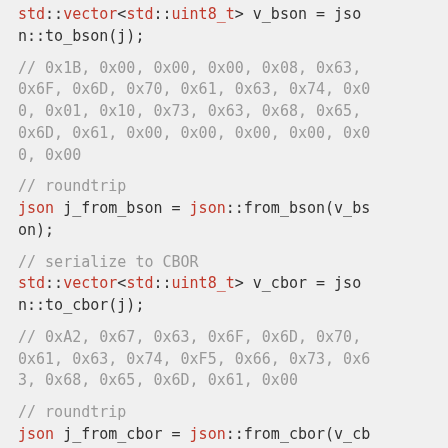std::vector<std::uint8_t> v_bson = json::to_bson(j);
// 0x1B, 0x00, 0x00, 0x00, 0x08, 0x63, 0x6F, 0x6D, 0x70, 0x61, 0x63, 0x74, 0x00, 0x01, 0x10, 0x73, 0x63, 0x68, 0x65, 0x6D, 0x61, 0x00, 0x00, 0x00, 0x00, 0x00, 0x00
// roundtrip
json j_from_bson = json::from_bson(v_bson);
// serialize to CBOR
std::vector<std::uint8_t> v_cbor = json::to_cbor(j);
// 0xA2, 0x67, 0x63, 0x6F, 0x6D, 0x70, 0x61, 0x63, 0x74, 0xF5, 0x66, 0x73, 0x63, 0x68, 0x65, 0x6D, 0x61, 0x00
// roundtrip
json j_from_cbor = json::from_cbor(v_cb